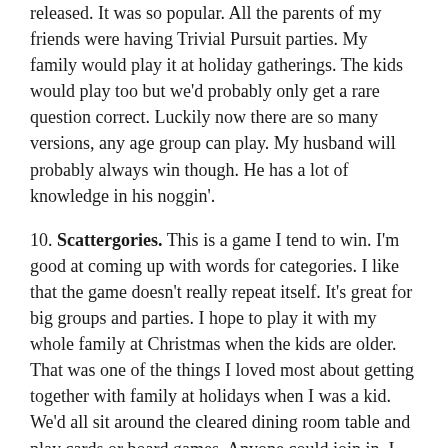released. It was so popular. All the parents of my friends were having Trivial Pursuit parties. My family would play it at holiday gatherings. The kids would play too but we'd probably only get a rare question correct. Luckily now there are so many versions, any age group can play. My husband will probably always win though. He has a lot of knowledge in his noggin'.
10. Scattergories. This is a game I tend to win. I'm good at coming up with words for categories. I like that the game doesn't really repeat itself. It's great for big groups and parties. I hope to play it with my whole family at Christmas when the kids are older. That was one of the things I loved most about getting together with family at holidays when I was a kid. We'd all sit around the cleared dining room table and play cards or board games. Anyone could join in. I liked it best when we played a board game as I wasn't the best at cards.